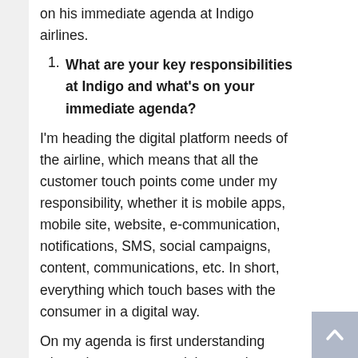on his immediate agenda at Indigo airlines.
What are your key responsibilities at Indigo and what's on your immediate agenda?
I'm heading the digital platform needs of the airline, which means that all the customer touch points come under my responsibility, whether it is mobile apps, mobile site, website, e-communication, notifications, SMS, social campaigns, content, communications, etc. In short, everything which touch bases with the consumer in a digital way.
On my agenda is first understanding where the gaps are and then putting together the blueprint